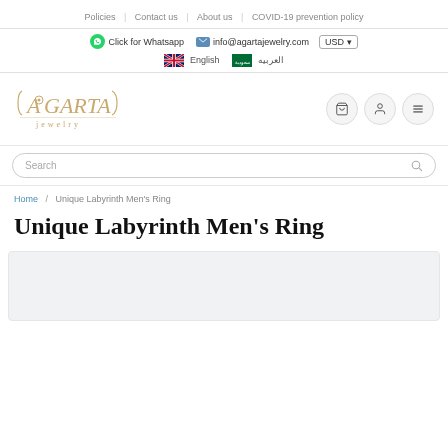Policies | Contact us | About us | COVID-19 prevention policy
Click for Whatsapp   info@agartajewelry.com   USD   English   العربيه
[Figure (logo): Agarta Jewelry logo in gold/tan color with decorative script lettering]
Search
Home / Unique Labyrinth Men's Ring
Unique Labyrinth Men's Ring
[Figure (photo): Product image area for the Unique Labyrinth Men's Ring (partially visible, light gray background)]